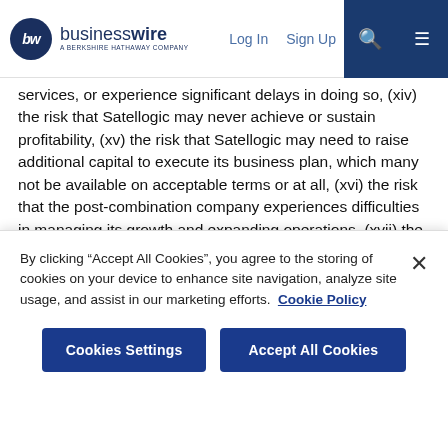businesswire — A BERKSHIRE HATHAWAY COMPANY | Log In | Sign Up
services, or experience significant delays in doing so, (xiv) the risk that Satellogic may never achieve or sustain profitability, (xv) the risk that Satellogic may need to raise additional capital to execute its business plan, which many not be available on acceptable terms or at all, (xvi) the risk that the post-combination company experiences difficulties in managing its growth and expanding operations, (xvii) the risk that third-party suppliers and manufacturers are not able to fully and timely meet their obligations, (xviii) the risk of product liability or regulatory lawsuits or proceedings relating to Satellogic's products and services, (xix) the risk that Satellogic is unable to secure or protect its intellectual
By clicking “Accept All Cookies”, you agree to the storing of cookies on your device to enhance site navigation, analyze site usage, and assist in our marketing efforts. Cookie Policy
Cookies Settings | Accept All Cookies